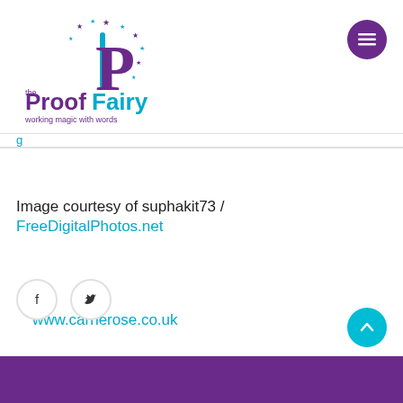[Figure (logo): The Proof Fairy logo with purple P, teal stars, and tagline 'working magic with words']
www.carrierose.co.uk
Image courtesy of suphakit73 / FreeDigitalPhotos.net
[Figure (other): Social share icons: Facebook and Twitter circles]
[Figure (other): Back to top arrow button (teal circle)]
[Figure (other): Purple footer bar]